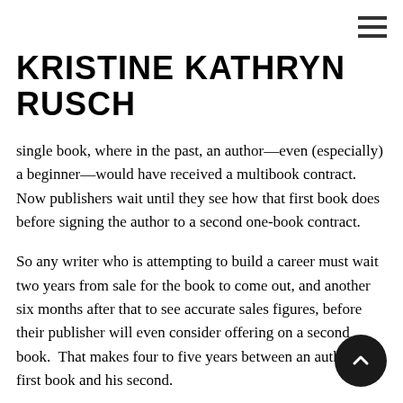≡
KRISTINE KATHRYN RUSCH
single book, where in the past, an author—even (especially) a beginner—would have received a multibook contract. Now publishers wait until they see how that first book does before signing the author to a second one-book contract.
So any writer who is attempting to build a career must wait two years from sale for the book to come out, and another six months after that to see accurate sales figures, before their publisher will even consider offering on a second book. That makes four to five years between an author's first book and his second.